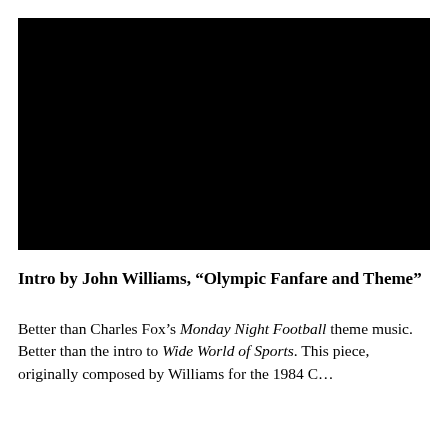[Figure (other): Black video player thumbnail or embedded video frame, completely black/dark.]
Intro by John Williams, “Olympic Fanfare and Theme”
Better than Charles Fox’s Monday Night Football theme music. Better than the intro to Wide World of Sports. This piece, originally composed by Williams for the 1984 C…